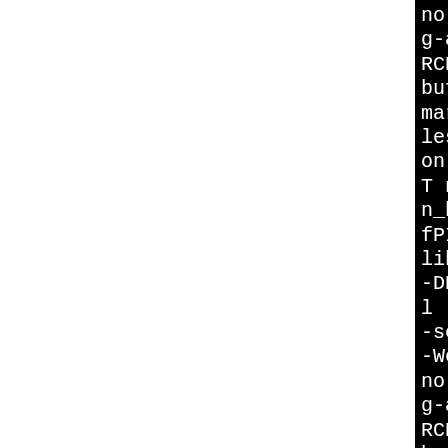no-debug-types-section -f
g-assignments -g2 -Wp,-D_F
RCE=2 -fstack-protector --
buffer-size=4 -fomit-frame
march=i486 -fasynchronous-
les -gdwarf-4 -fno-debug-t
on -fvar-tracking-assignme
T n_hash_stats.lo -MD -MP
n_hash_stats.Tpo -c n_hash
fPIC -DPIC -o .libs/n_hash
libtool: compile: i486-plo
-DHAVE_CONFIG_H -I. -I./in
l -I./include -Wall -Wextr
-security -O2 -fwrapv -pip
-Werror=format-security -g
no-debug-types-section -fv
g-assignments -g2 -Wp,-D_F
RCE=2 -fstack-protector --
buffer-size=4 -fomit-frame
march=i486 -fasynchronous-
les -gdwarf-4 -fno-debug-t
on -fvar-tracking-assignme
T n_hash_stats.lo -MD -MP
n_hash_stats.Tpo -c n_has